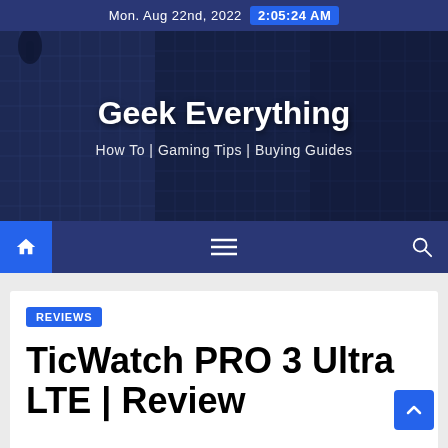Mon. Aug 22nd, 2022  2:05:24 AM
[Figure (screenshot): Geek Everything website hero banner with building photo background, showing site title 'Geek Everything' and tagline 'How To | Gaming Tips | Buying Guides']
Geek Everything
How To | Gaming Tips | Buying Guides
REVIEWS
TicWatch PRO 3 Ultra LTE | Review